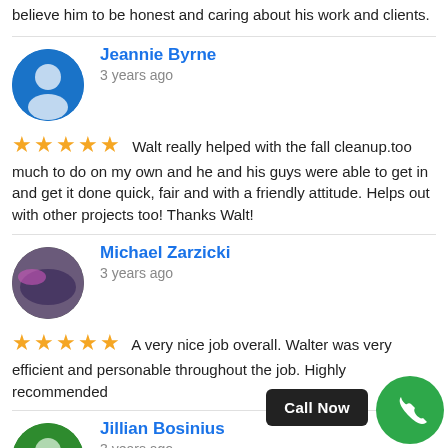believe him to be honest and caring about his work and clients.
Jeannie Byrne
3 years ago
★★★★★ Walt really helped with the fall cleanup.too much to do on my own and he and his guys were able to get in and get it done quick, fair and with a friendly attitude. Helps out with other projects too! Thanks Walt!
Michael Zarzicki
3 years ago
★★★★★ A very nice job overall. Walter was very efficient and personable throughout the job. Highly recommended
Jillian Bosinius
3 years ago
★★★★★ We couldn't be any happier with Shore to Shore. Walt was responsive and was at the house on time. Before the first service, they came to walk around the property and see what needed to be done. And then they have been coming ever since and